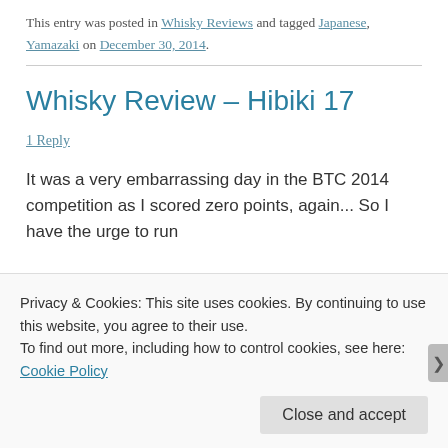This entry was posted in Whisky Reviews and tagged Japanese, Yamazaki on December 30, 2014.
Whisky Review – Hibiki 17
1 Reply
It was a very embarrassing day in the BTC 2014 competition as I scored zero points, again... So I have the urge to run
Privacy & Cookies: This site uses cookies. By continuing to use this website, you agree to their use.
To find out more, including how to control cookies, see here: Cookie Policy
Close and accept